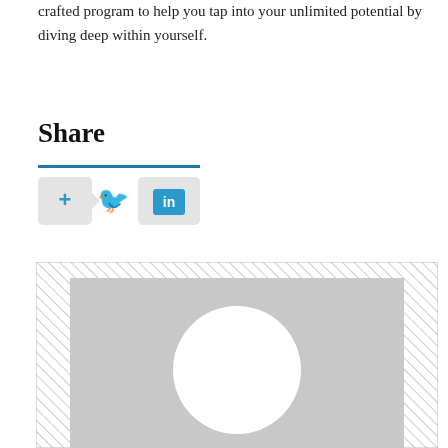crafted program to help you tap into your unlimited potential by diving deep within yourself.
Share
[Figure (screenshot): Social sharing buttons bar showing a plus button, Twitter bird icon, and LinkedIn icon on a light grey background with a blue underline separator]
[Figure (photo): Placeholder profile image area with hatched border and grey background containing a white circle representing an avatar]